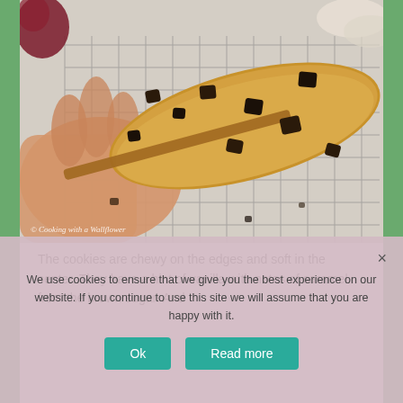[Figure (photo): A hand holding a broken chocolate chip cookie showing its interior, resting on a wire cooling rack with rose decorations in the background. Watermark reads '© Cooking with a Wallflower'.]
The cookies are chewy on the edges and soft in the center. They have a hint of vanilla with notes of caramel from the brown sugar. And
We use cookies to ensure that we give you the best experience on our website. If you continue to use this site we will assume that you are happy with it.